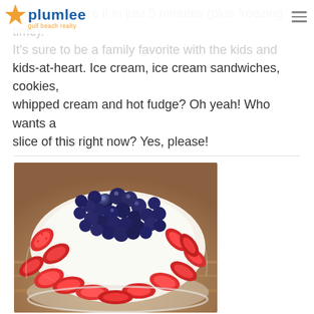plumlee gulf beach realty
recipe. Prepare it in just 5 minutes (plus freezing time). It's sure to be a family favorite with the kids and kids-at-heart. Ice cream, ice cream sandwiches, cookies, whipped cream and hot fudge? Oh yeah! Who wants a slice of this right now? Yes, please!
[Figure (photo): Close-up photo of a dessert bowl topped with sliced strawberries and fresh blueberries arranged in a patriotic red-white-and-blue pattern, with whipped cream visible beneath.]